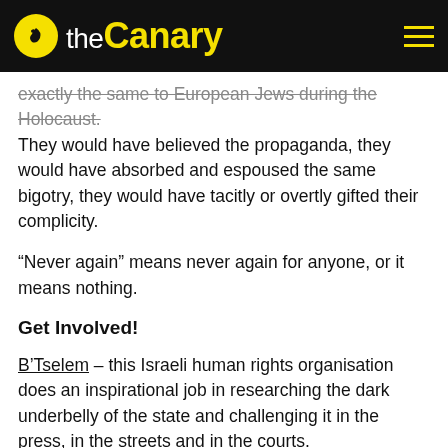the Canary
exactly the same to European Jews during the Holocaust. They would have believed the propaganda, they would have absorbed and espoused the same bigotry, they would have tacitly or overtly gifted their complicity.
“Never again” means never again for anyone, or it means nothing.
Get Involved!
B'Tselem – this Israeli human rights organisation does an inspirational job in researching the dark underbelly of the state and challenging it in the press, in the streets and in the courts.
International Jewish Anti Zionist Network – Jews across the world who are opposed to the ideology of Zionism and the violence of the Israeli state.
Palestine Solidarity Campaign – learn about the occupation